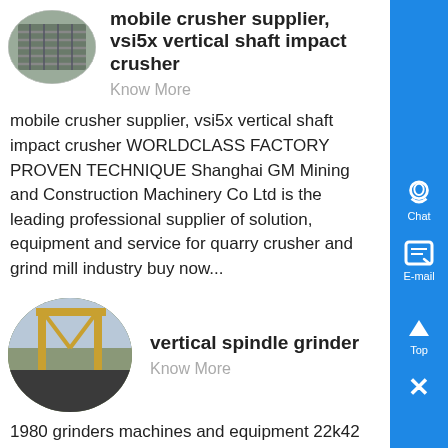[Figure (photo): Oval-cropped photo of a metal crusher/grate component]
mobile crusher supplier, vsi5x vertical shaft impact crusher
Know More
mobile crusher supplier, vsi5x vertical shaft impact crusher WORLDCLASS FACTORY PROVEN TECHNIQUE Shanghai GM Mining and Construction Machinery Co Ltd is the leading professional supplier of solution, equipment and service for quarry crusher and grind mill industry buy now...
[Figure (photo): Oval-cropped photo of a large industrial crane/gantry structure outdoors]
vertical spindle grinder
Know More
1980 grinders machines and equipment 22k42 vertical rotary surface grinder manufacturer grinders machines and equipment electro magnetic chuck size 42...